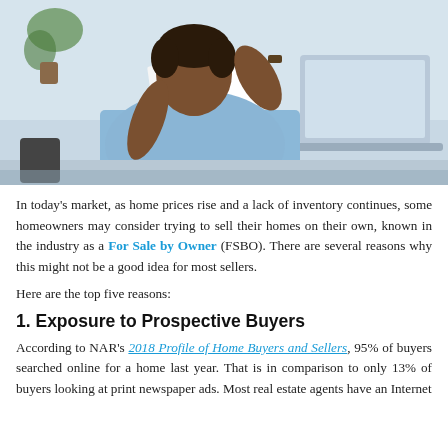[Figure (photo): Man in light blue shirt holding papers, looking stressed, with a laptop in front of him and a plant in the background]
In today's market, as home prices rise and a lack of inventory continues, some homeowners may consider trying to sell their homes on their own, known in the industry as a For Sale by Owner (FSBO). There are several reasons why this might not be a good idea for most sellers.
Here are the top five reasons:
1. Exposure to Prospective Buyers
According to NAR's 2018 Profile of Home Buyers and Sellers, 95% of buyers searched online for a home last year. That is in comparison to only 13% of buyers looking at print newspaper ads. Most real estate agents have an Internet